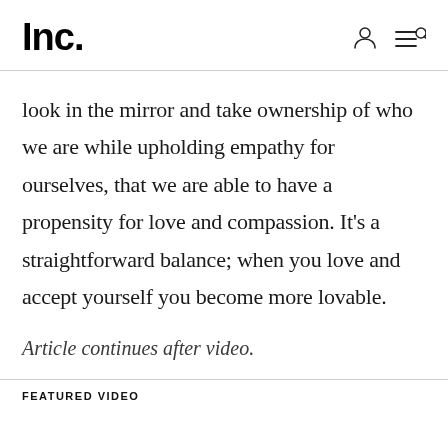Inc.
look in the mirror and take ownership of who we are while upholding empathy for ourselves, that we are able to have a propensity for love and compassion. It's a straightforward balance; when you love and accept yourself you become more lovable.
Article continues after video.
FEATURED VIDEO